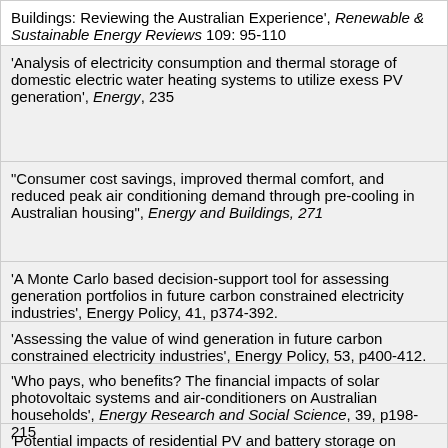Buildings: Reviewing the Australian Experience', Renewable & Sustainable Energy Reviews 109: 95-110
'Analysis of electricity consumption and thermal storage of domestic electric water heating systems to utilize exess PV generation', Energy, 235
"Consumer cost savings, improved thermal comfort, and reduced peak air conditioning demand through pre-cooling in Australian housing", Energy and Buildings, 271
'A Monte Carlo based decision-support tool for assessing generation portfolios in future carbon constrained electricity industries', Energy Policy, 41, p374-392.
'Assessing the value of wind generation in future carbon constrained electricity industries', Energy Policy, 53, p400-412.
'Who pays, who benefits? The financial impacts of solar photovoltaic systems and air-conditioners on Australian households', Energy Research and Social Science, 39, p198-215
'Potential impacts of residential PV and battery storage on Australia's electricity networks under different tariffs', Energy Policy, 128: 616-627